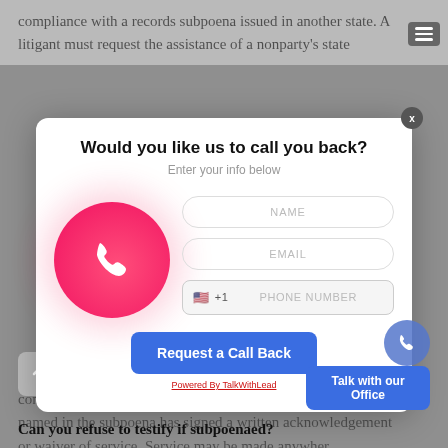compliance with a records subpoena issued in another state. A litigant must request the assistance of a nonparty's state
[Figure (screenshot): A popup modal dialog with title 'Would you like us to call you back?', subtitle 'Enter your info below', a pink phone icon circle on the left, and form fields for NAME, EMAIL, and PHONE NUMBER (+1) on the right, with a blue 'Request a Call Back' button at the bottom.]
consistent with due process. Service is also valid if the person named in the subpoena has signed a written acknowledgement or waiver of service. Service may be made anywhere within the state of Louisiana.
Can you refuse to testify if subpoenaed?